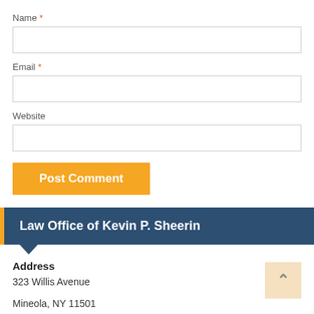Name *
Email *
Website
Post Comment
Law Office of Kevin P. Sheerin
Address
323 Willis Avenue
Mineola, NY 11501
Hours